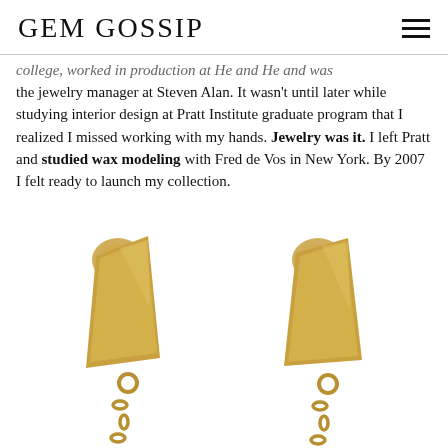GEM GOSSIP
college, worked in production at He and He and was the jewelry manager at Steven Alan. It wasn't until later while studying interior design at Pratt Institute graduate program that I realized I missed working with my hands. Jewelry was it. I left Pratt and studied wax modeling with Fred de Vos in New York. By 2007 I felt ready to launch my collection.
[Figure (photo): Close-up photo of two gold shark tooth stud earrings with dangling chain links on a white background.]